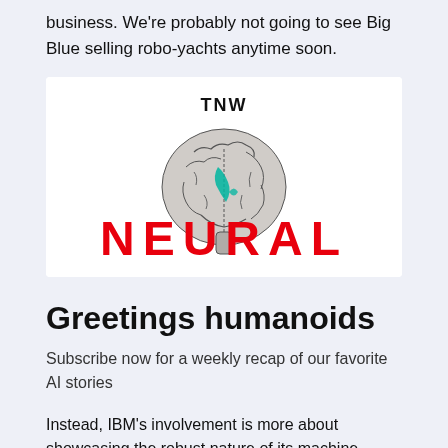business. We're probably not going to see Big Blue selling robo-yachts anytime soon.
[Figure (logo): TNW Neural logo: white box with 'TNW' text at top, large red 'NEURAL' text overlaid on an anatomical brain illustration with teal highlights]
Greetings humanoids
Subscribe now for a weekly recap of our favorite AI stories
Instead, IBM's involvement is more about showcasing the robust nature of its machine learning tools